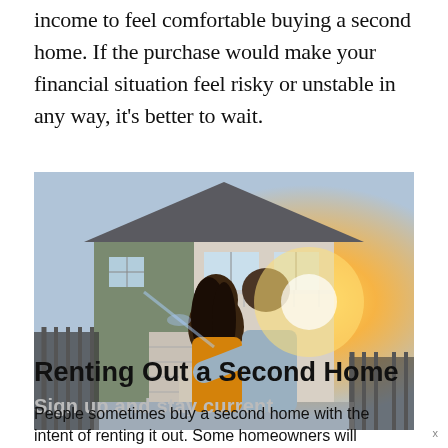income to feel comfortable buying a second home. If the purchase would make your financial situation feel risky or unstable in any way, it’s better to wait.
[Figure (photo): A couple seen from behind with arms around each other, looking at a two-story house with a garage, in warm sunset light.]
Renting Out a Second Home
People sometimes buy a second home with the intent of renting it out. Some homeowners will